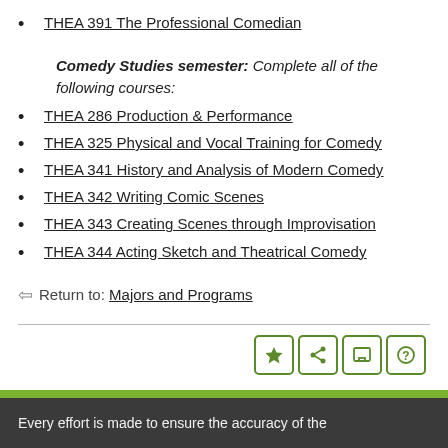THEA 391 The Professional Comedian
Comedy Studies semester: Complete all of the following courses:
THEA 286 Production & Performance
THEA 325 Physical and Vocal Training for Comedy
THEA 341 History and Analysis of Modern Comedy
THEA 342 Writing Comic Scenes
THEA 343 Creating Scenes through Improvisation
THEA 344 Acting Sketch and Theatrical Comedy
Return to: Majors and Programs
Every effort is made to ensure the accuracy of the